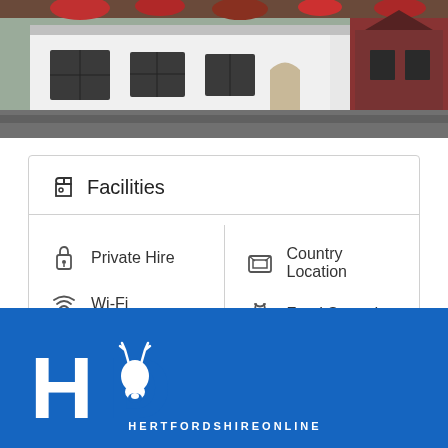[Figure (photo): Exterior photo of a white building with dark windows and hanging flower baskets, appears to be a pub or inn in a village setting]
Facilities
Private Hire
Country Location
Wi-Fi
Food Served
Disabled Access
Outdoor Seating
[Figure (logo): Hertfordshire Online logo — HD letters with a deer head silhouette, white on blue background, with text HERTFORDSHIREONLINE below]